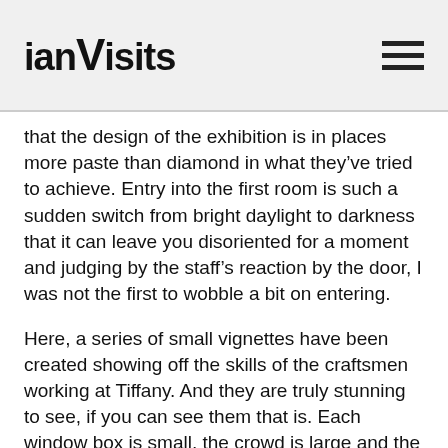ianVisits
that the design of the exhibition is in places more paste than diamond in what they’ve tried to achieve. Entry into the first room is such a sudden switch from bright daylight to darkness that it can leave you disoriented for a moment and judging by the staff’s reaction by the door, I was not the first to wobble a bit on entering.
Here, a series of small vignettes have been created showing off the skills of the craftsmen working at Tiffany. And they are truly stunning to see, if you can see them that is. Each window box is small, the crowd is large and the queue to see them is slow. I will admit to eventually deciding to walk behind people and only peering at a handful that really caught my attention. The white text on the black background suits the dark room, but was also in a small-sized text that made it unnecessarily harder to read than it needed to be.